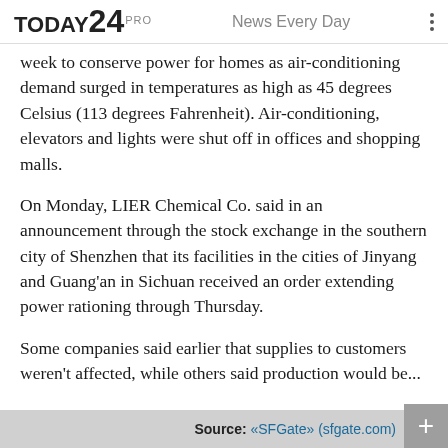TODAY24 PRO   News Every Day
week to conserve power for homes as air-conditioning demand surged in temperatures as high as 45 degrees Celsius (113 degrees Fahrenheit). Air-conditioning, elevators and lights were shut off in offices and shopping malls.
On Monday, LIER Chemical Co. said in an announcement through the stock exchange in the southern city of Shenzhen that its facilities in the cities of Jinyang and Guang'an in Sichuan received an order extending power rationing through Thursday.
Some companies said earlier that supplies to customers weren't affected, while others said production would be...
Source: «SFGate» (sfgate.com)